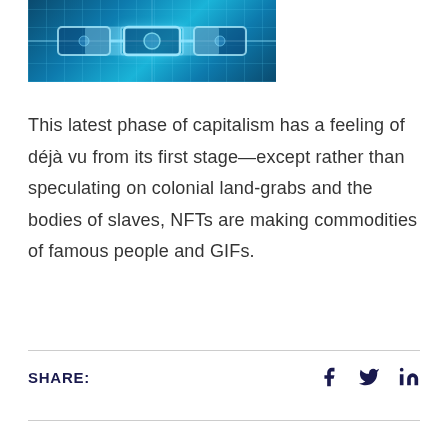[Figure (photo): Blockchain/technology themed image with blue glowing circuit or chain links on a dark blue background]
This latest phase of capitalism has a feeling of déjà vu from its first stage—except rather than speculating on colonial land-grabs and the bodies of slaves, NFTs are making commodities of famous people and GIFs.
SHARE: